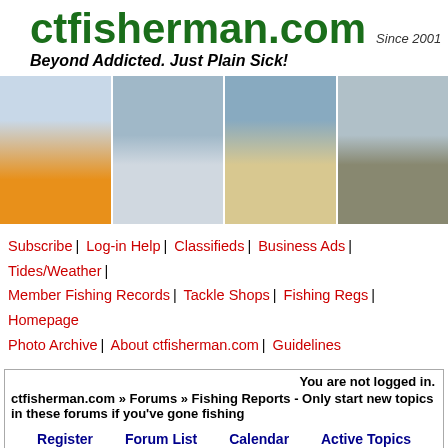ctfisherman.com Since 2001
Beyond Addicted. Just Plain Sick!
[Figure (photo): Four fishing photos showing anglers holding fish catches]
Subscribe | Log-in Help | Classifieds | Business Ads | Tides/Weather | Member Fishing Records | Tackle Shops | Fishing Regs | Homepage Photo Archive | About ctfisherman.com | Guidelines
You are not logged in.
ctfisherman.com » Forums » Fishing Reports - Only start new topics in these forums if you've gone fishing
Register   Forum List   Calendar   Active Topics   FAQ
Fishing Reports - Only start new topics in these forums if you've gone fishing
20 Questio